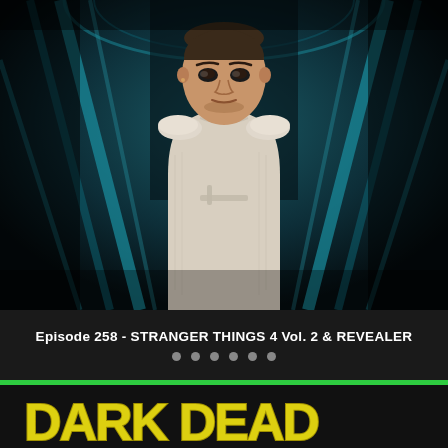[Figure (photo): Young woman with short hair wearing a white sleeveless futuristic top/armor, standing in a dark teal corridor with blue metal structures behind her. Scene from Stranger Things season 4.]
Episode 258 - STRANGER THINGS 4 Vol. 2 & REVEALER
[Figure (infographic): Row of six gray navigation dots below the episode title]
[Figure (logo): Dark Dead logo in distressed yellow block letters at the bottom of the page]